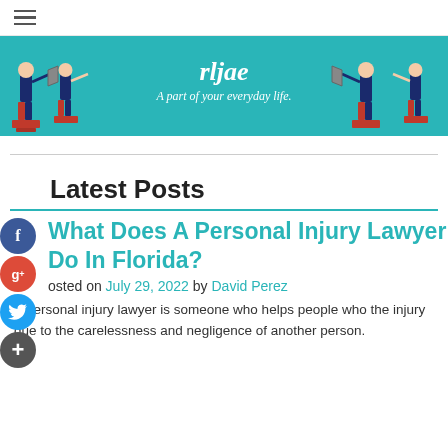≡ (hamburger menu)
[Figure (illustration): Website banner with teal background showing cartoon figures of people at podiums pointing at each other, with site name 'rljae' and tagline 'A part of your everyday life.']
Latest Posts
What Does A Personal Injury Lawyer Do In Florida?
Posted on July 29, 2022 by David Perez
A personal injury lawyer is someone who helps people who the injury due to the carelessness and negligence of another person.